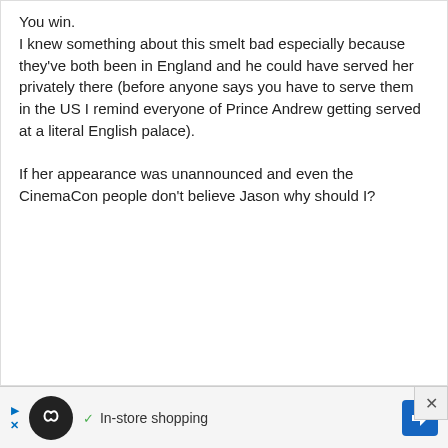You win.
I knew something about this smelt bad especially because they've both been in England and he could have served her privately there (before anyone says you have to serve them in the US I remind everyone of Prince Andrew getting served at a literal English palace).

If her appearance was unannounced and even the CinemaCon people don't believe Jason why should I?
EMMA
April 29, 2022 at 10:27 am
Yes!!

I am finally out of the ingrained habit of taking men's excuses for bad behavior
[Figure (infographic): Advertisement banner with Loops app logo (black circle with infinity symbol), checkmark, 'In-store shopping' text, and blue diamond navigation arrow icon.]